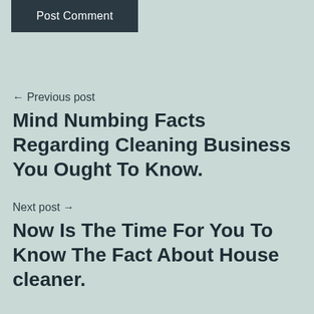Post Comment
← Previous post
Mind Numbing Facts Regarding Cleaning Business You Ought To Know.
Next post →
Now Is The Time For You To Know The Fact About House cleaner.